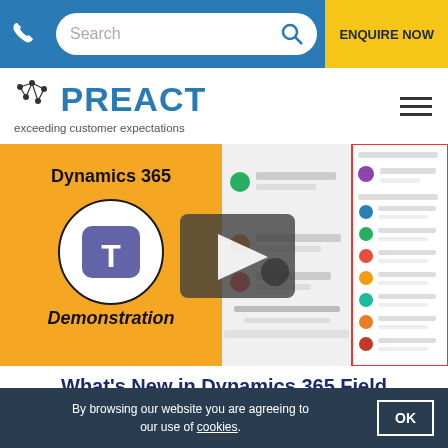Search | ENQUIRE NOW
[Figure (logo): PREACT logo with tagline 'exceeding customer expectations' and hamburger menu]
[Figure (screenshot): Video thumbnail showing Dynamics 365 Teams Demonstration with a play button overlay, alongside Microsoft Dynamics 365 Field Service screenshots]
What's New in Dynamics 365 Field Service
...presentation, we demonstrated the latest capabilities from
By browsing our website you are agreeing to our use of cookies.